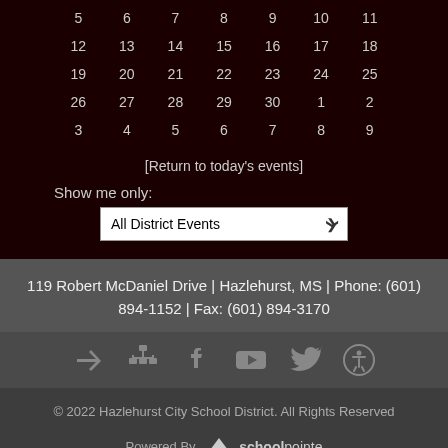| 5 | 6 | 7 | 8 | 9 | 10 | 11 |
| 12 | 13 | 14 | 15 | 16 | 17 | 18 |
| 19 | 20 | 21 | 22 | 23 | 24 | 25 |
| 26 | 27 | 28 | 29 | 30 | 1 | 2 |
| 3 | 4 | 5 | 6 | 7 | 8 | 9 |
[Return to today's events]
Show me only:
All District Events
119 Robert McDaniel Drive | Hazlehurst, MS | Phone: (601) 894-1152 | Fax: (601) 894-3170
[Figure (infographic): Row of social media and accessibility icons: login arrow, org chart, Facebook, YouTube, Twitter, accessibility symbol]
© 2022 Hazlehurst City School District. All Rights Reserved
Powered By schoolpointe